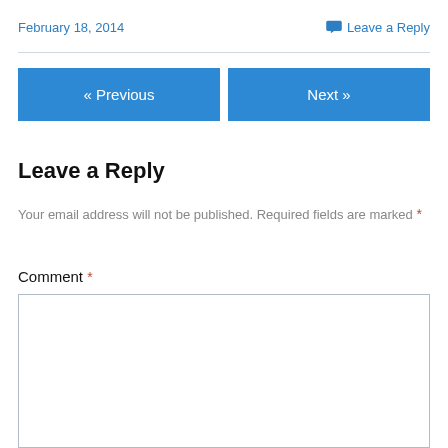February 18, 2014
💬 Leave a Reply
« Previous
Next »
Leave a Reply
Your email address will not be published. Required fields are marked *
Comment *